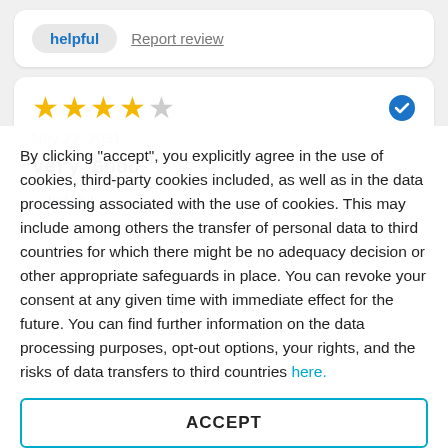helpful   Report review
[Figure (other): 4 out of 5 star rating with verified badge]
Nov 22, 2021
Very Good
By clicking "accept", you explicitly agree in the use of cookies, third-party cookies included, as well as in the data processing associated with the use of cookies. This may include among others the transfer of personal data to third countries for which there might be no adequacy decision or other appropriate safeguards in place. You can revoke your consent at any given time with immediate effect for the future. You can find further information on the data processing purposes, opt-out options, your rights, and the risks of data transfers to third countries here.
ACCEPT